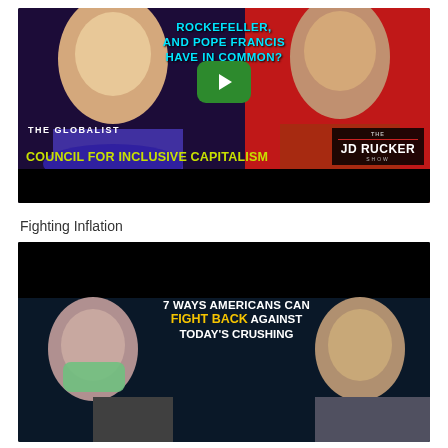[Figure (screenshot): YouTube-style video thumbnail for JD Rucker Show. Text reads: 'ROCKEFELLER AND POPE FRANCIS HAVE IN COMMON? THE GLOBALIST COUNCIL FOR INCLUSIVE CAPITALISM'. Has a green play button overlay, woman on left, man on right, JD Rucker Show badge.]
Fighting Inflation
[Figure (screenshot): Video thumbnail with text: '7 WAYS AMERICANS CAN FIGHT BACK AGAINST TODAY'S CRUSHING'. Shows woman with mask on left and man on right against dark blue background.]